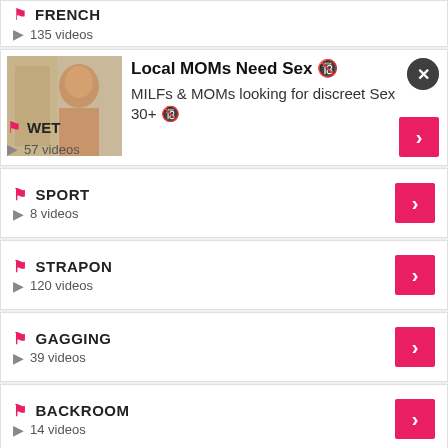FRENCH - 135 videos
[Figure (photo): Advertisement overlay with photo of a woman, titled 'Local MOMs Need Sex' with text 'MILFs & MOMs looking for discreet Sex 30+']
WET - 57 videos
SPORT - 8 videos
STRAPON - 120 videos
GAGGING - 39 videos
BACKROOM - 14 videos
AUDITION - 16 videos